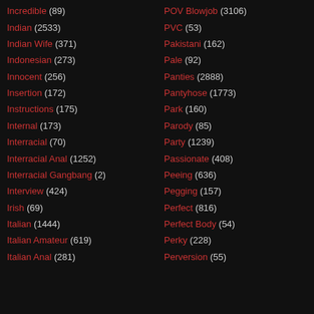Incredible (89)
Indian (2533)
Indian Wife (371)
Indonesian (273)
Innocent (256)
Insertion (172)
Instructions (175)
Internal (173)
Interracial (70)
Interracial Anal (1252)
Interracial Gangbang (2)
Interview (424)
Irish (69)
Italian (1444)
Italian Amateur (619)
Italian Anal (281)
POV Blowjob (3106)
PVC (53)
Pakistani (162)
Pale (92)
Panties (2888)
Pantyhose (1773)
Park (160)
Parody (85)
Party (1239)
Passionate (408)
Peeing (636)
Pegging (157)
Perfect (816)
Perfect Body (54)
Perky (228)
Perversion (55)